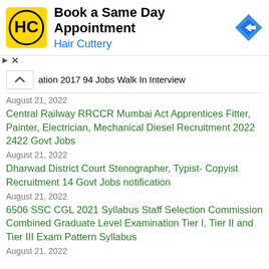[Figure (logo): Hair Cuttery advertisement banner with HC logo, text 'Book a Same Day Appointment / Hair Cuttery', and a blue navigation arrow icon]
ation 2017 94 Jobs Walk In Interview
August 21, 2022
Central Railway RRCCR Mumbai Act Apprentices Fitter, Painter, Electrician, Mechanical Diesel Recruitment 2022 2422 Govt Jobs
August 21, 2022
Dharwad District Court Stenographer, Typist- Copyist Recruitment 14 Govt Jobs notification
August 21, 2022
6506 SSC CGL 2021 Syllabus Staff Selection Commission Combined Graduate Level Examination Tier I, Tier II and Tier III Exam Pattern Syllabus
August 21, 2022